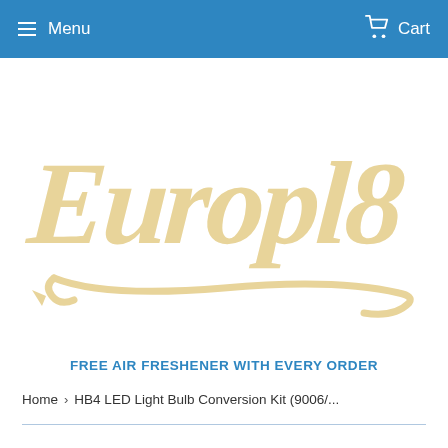Menu   Cart
[Figure (logo): Europl8 logo in cursive gold/tan lettering with a swoosh underline]
FREE AIR FRESHENER WITH EVERY ORDER
Home › HB4 LED Light Bulb Conversion Kit (9006/...